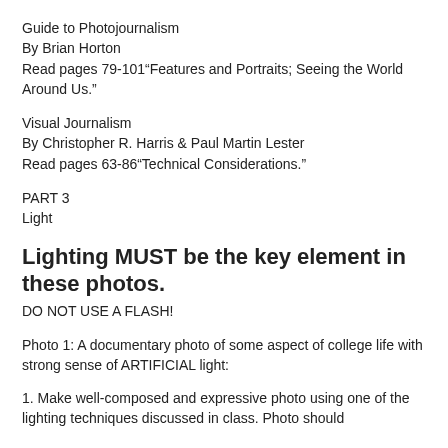Guide to Photojournalism
By Brian Horton
Read pages 79-101“Features and Portraits; Seeing the World Around Us.”
Visual Journalism
By Christopher R. Harris & Paul Martin Lester
Read pages 63-86“Technical Considerations.”
PART 3
Light
Lighting MUST be the key element in these photos.
DO NOT USE A FLASH!
Photo 1: A documentary photo of some aspect of college life with strong sense of ARTIFICIAL light:
1. Make well-composed and expressive photo using one of the lighting techniques discussed in class. Photo should